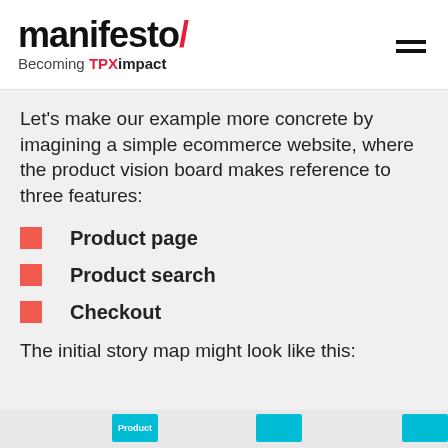manifesto/ Becoming TPXimpact
Let’s make our example more concrete by imagining a simple ecommerce website, where the product vision board makes reference to three features:
Product page
Product search
Checkout
The initial story map might look like this:
[Figure (other): Partial view of a story map showing three teal/cyan card headers at the bottom of the page]